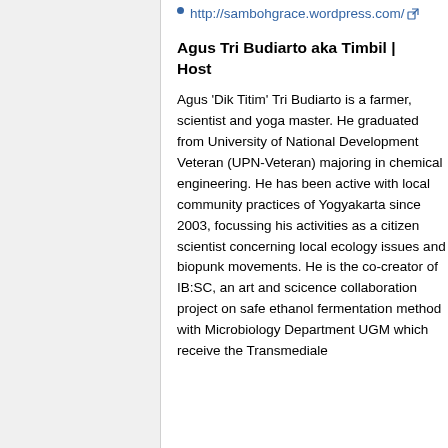http://sambohgrace.wordpress.com/
Agus Tri Budiarto aka Timbil | Host
Agus 'Dik Titim' Tri Budiarto is a farmer, scientist and yoga master. He graduated from University of National Development Veteran (UPN-Veteran) majoring in chemical engineering. He has been active with local community practices of Yogyakarta since 2003, focussing his activities as a citizen scientist concerning local ecology issues and biopunk movements. He is the co-creator of IB:SC, an art and scicence collaboration project on safe ethanol fermentation method with Microbiology Department UGM which receive the Transmediale award in 2011 to 2012 have focused ah